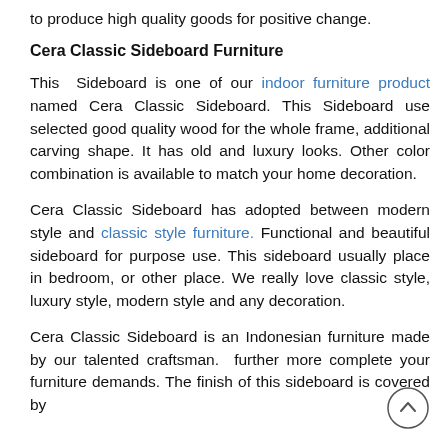to produce high quality goods for positive change.
Cera Classic Sideboard Furniture
This Sideboard is one of our indoor furniture product named Cera Classic Sideboard. This Sideboard use selected good quality wood for the whole frame, additional carving shape. It has old and luxury looks. Other color combination is available to match your home decoration.
Cera Classic Sideboard has adopted between modern style and classic style furniture. Functional and beautiful sideboard for purpose use. This sideboard usually place in bedroom, or other place. We really love classic style, luxury style, modern style and any decoration.
Cera Classic Sideboard is an Indonesian furniture made by our talented craftsman. further more complete your furniture demands. The finish of this sideboard is covered by